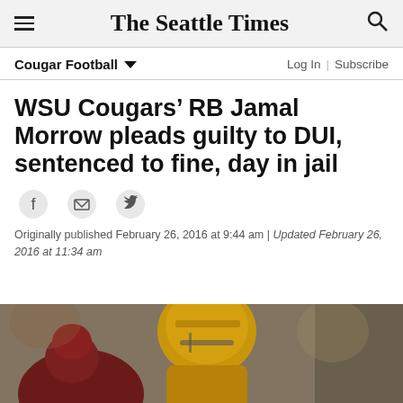The Seattle Times
Cougar Football
WSU Cougars’ RB Jamal Morrow pleads guilty to DUI, sentenced to fine, day in jail
Originally published February 26, 2016 at 9:44 am | Updated February 26, 2016 at 11:34 am
[Figure (photo): Football players in action, one wearing a gold/yellow helmet, another in dark red/maroon uniform]